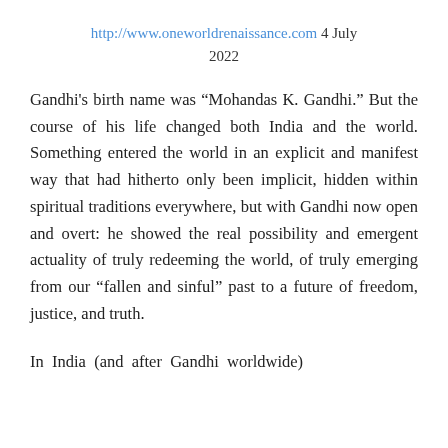http://www.oneworldrenaissance.com 4 July 2022
Gandhi’s birth name was “Mohandas K. Gandhi.” But the course of his life changed both India and the world. Something entered the world in an explicit and manifest way that had hitherto only been implicit, hidden within spiritual traditions everywhere, but with Gandhi now open and overt: he showed the real possibility and emergent actuality of truly redeeming the world, of truly emerging from our “fallen and sinful” past to a future of freedom, justice, and truth.
In India (and after Gandhi worldwide)